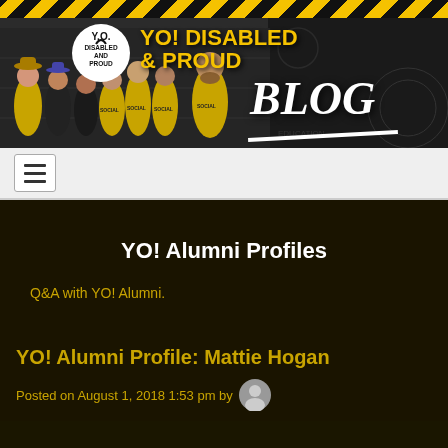[Figure (photo): YO! Disabled & Proud Blog banner header with group photo of young people in yellow/black shirts, YO logo circle, yellow bold title text 'YO! DISABLED & PROUD' and italic white 'BLOG' text, hazard-stripe border at top]
≡ (navigation menu icon)
YO! Alumni Profiles
Q&A with YO! Alumni.
YO! Alumni Profile: Mattie Hogan
Posted on August 1, 2018 1:53 pm by